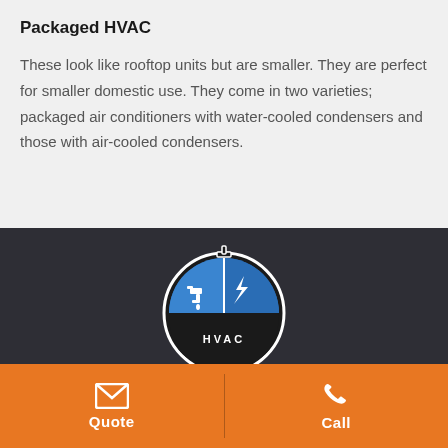Packaged HVAC
These look like rooftop units but are smaller. They are perfect for smaller domestic use. They come in two varieties; packaged air conditioners with water-cooled condensers and those with air-cooled condensers.
[Figure (logo): HVAC company logo — circular emblem with dark border, blue semicircle background showing a water faucet on the left half and a lightning bolt on the right half, with company name text below inside the circle.]
Quote
Call